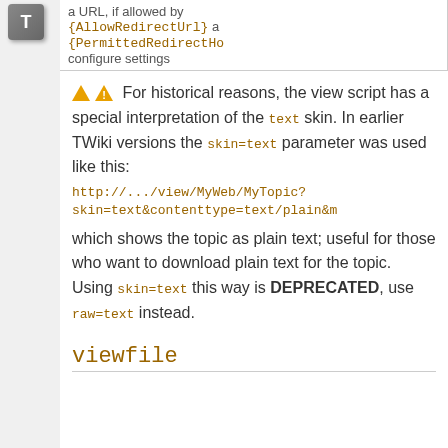| a URL, if allowed by {AllowRedirectUrl} a {PermittedRedirectHo configure settings |
⚠ For historical reasons, the view script has a special interpretation of the text skin. In earlier TWiki versions the skin=text parameter was used like this:
http://.../view/MyWeb/MyTopic?skin=text&contenttype=text/plain&m
which shows the topic as plain text; useful for those who want to download plain text for the topic. Using skin=text this way is DEPRECATED, use raw=text instead.
viewfile